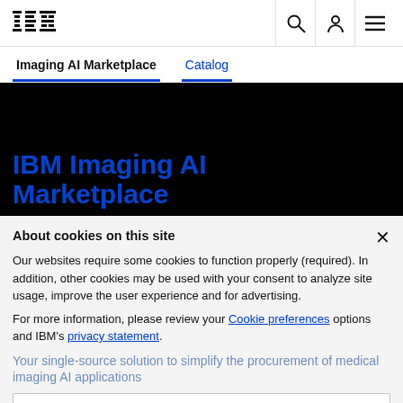[Figure (logo): IBM striped logo in black]
Imaging AI Marketplace   Catalog
[Figure (screenshot): Black hero background area with IBM Imaging AI Marketplace title and subtitle in blue]
About cookies on this site
Our websites require some cookies to function properly (required). In addition, other cookies may be used with your consent to analyze site usage, improve the user experience and for advertising.
For more information, please review your Cookie preferences options and IBM's privacy statement.
Your single-source solution to simplify the procurement of medical imaging AI applications
Read the blog
Required only
Accept all